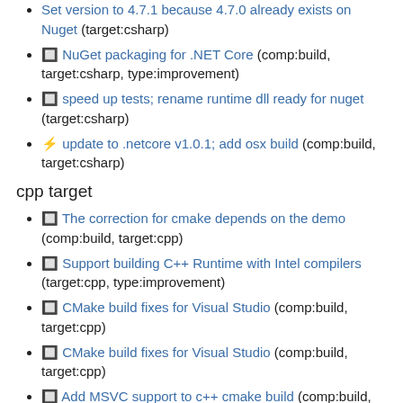Set version to 4.7.1 because 4.7.0 already exists on Nuget (target:csharp)
🔲 NuGet packaging for .NET Core (comp:build, target:csharp, type:improvement)
🔲 speed up tests; rename runtime dll ready for nuget (target:csharp)
⚡ update to .netcore v1.0.1; add osx build (comp:build, target:csharp)
cpp target
🔲 The correction for cmake depends on the demo (comp:build, target:cpp)
🔲 Support building C++ Runtime with Intel compilers (target:cpp, type:improvement)
🔲 CMake build fixes for Visual Studio (comp:build, target:cpp)
🔲 CMake build fixes for Visual Studio (comp:build, target:cpp)
🔲 Add MSVC support to c++ cmake build (comp:build,